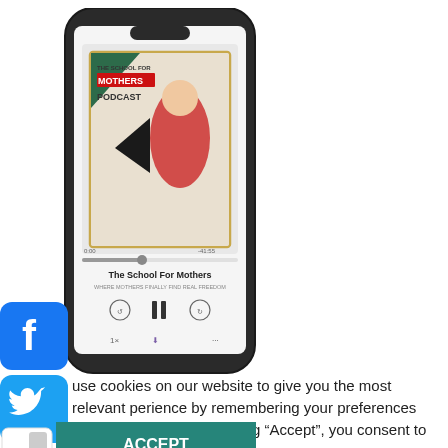[Figure (screenshot): A smartphone displaying The School For Mothers Podcast app/player screen, with a podcast artwork image of a woman in red dress and podcast controls visible.]
[Figure (logo): Facebook logo icon — blue square with white 'f']
[Figure (logo): Twitter logo icon — blue square with white bird]
use cookies on our website to give you the most relevant perience by remembering your preferences and repeat visits. By clicking “Accept”, you consent to the use of ALL the cookies.
[Figure (other): ACCEPT button — teal/green rectangle with white text 'ACCEPT', with a small white toggle or switch icon to its left]